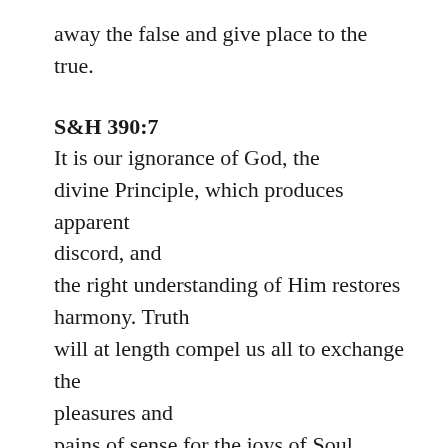away the false and give place to the true.
S&H 390:7
It is our ignorance of God, the divine Principle, which produces apparent discord, and the right understanding of Him restores harmony. Truth will at length compel us all to exchange the pleasures and pains of sense for the joys of Soul.
S&H 474:31
Truth destroys falsity and error, for light and darkness cannot dwell together. Light extinguishes the